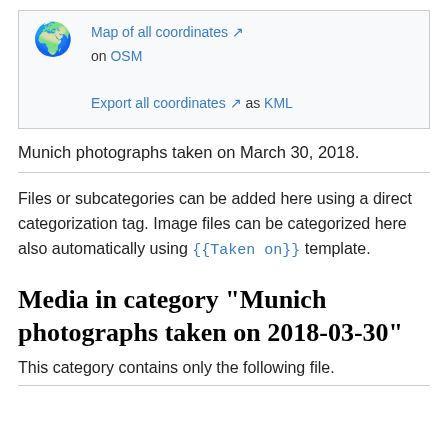[Figure (other): Globe emoji icon with coordinate map links box showing 'Map of all coordinates on OSM' and 'Export all coordinates as KML']
Munich photographs taken on March 30, 2018.
Files or subcategories can be added here using a direct categorization tag. Image files can be categorized here also automatically using {{Taken on}} template.
Media in category "Munich photographs taken on 2018-03-30"
This category contains only the following file.